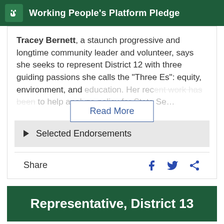Working People's Platform Pledge
Tracey Bernett, a staunch progressive and longtime community leader and volunteer, says she seeks to represent District 12 with three guiding passions she calls the "Three Es": equity, environment, and education. Her recent work has been to help analyze policy for State Se…
Read More
Selected Endorsements
Share
Representative, District 13
State Representative…